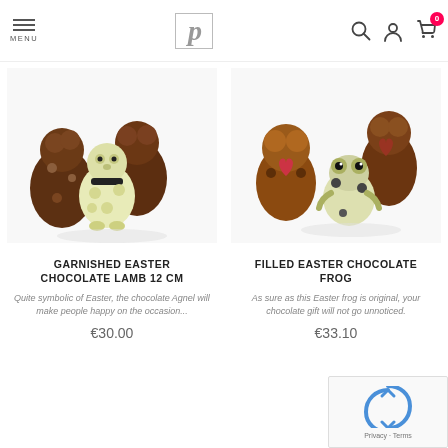MENU | [Logo P] | Search | User | Cart (0)
[Figure (photo): Chocolate Easter animal figurines including a white chocolate lamb and brown chocolate animals]
GARNISHED EASTER CHOCOLATE LAMB 12 CM
Quite symbolic of Easter, the chocolate Agnel will make people happy on the occasion...
€30.00
[Figure (photo): Chocolate Easter figurines including a white/dark chocolate frog and brown chocolate animals with heart decorations]
FILLED EASTER CHOCOLATE FROG
As sure as this Easter frog is original, your chocolate gift will not go unnoticed.
€33.10
[Figure (other): reCAPTCHA widget with Privacy and Terms links]